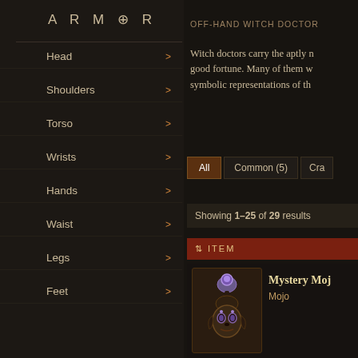ARMOR
Head
Shoulders
Torso
Wrists
Hands
Waist
Legs
Feet
Jewelry
Off-Hand
Shields
Crusader Shields
Mojos
Orbs
OFF-HAND WITCH DOCTOR
Witch doctors carry the aptly n good fortune. Many of them w symbolic representations of th
All   Common (5)   Cra
Showing 1–25 of 29 results
ITEM
Mystery Moj
Mojo